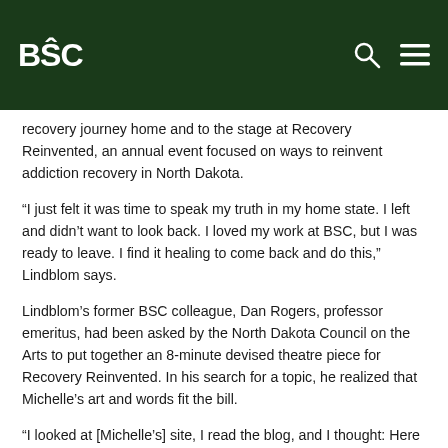BSC [logo] [search icon] [menu icon]
recovery journey home and to the stage at Recovery Reinvented, an annual event focused on ways to reinvent addiction recovery in North Dakota.
“I just felt it was time to speak my truth in my home state. I left and didn’t want to look back. I loved my work at BSC, but I was ready to leave. I find it healing to come back and do this,” Lindblom says.
Lindblom’s former BSC colleague, Dan Rogers, professor emeritus, had been asked by the North Dakota Council on the Arts to put together an 8-minute devised theatre piece for Recovery Reinvented. In his search for a topic, he realized that Michelle’s art and words fit the bill.
“I looked at [Michelle’s] site, I read the blog, and I thought: Here it is. Multimedia, devised theater, and art